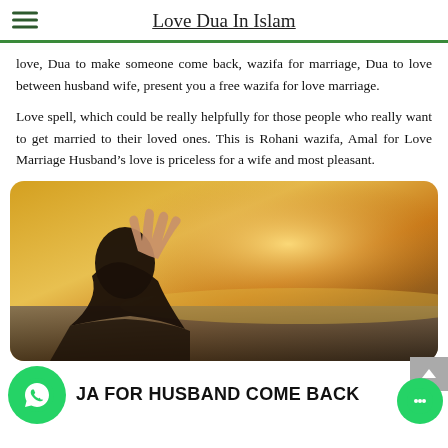Love Dua In Islam
love, Dua to make someone come back, wazifa for marriage, Dua to love between husband wife, present you a free wazifa for love marriage.
Love spell, which could be really helpfully for those people who really want to get married to their loved ones. This is Rohani wazifa, Amal for Love Marriage Husband's love is priceless for a wife and most pleasant.
[Figure (photo): A woman wearing a hijab looking upward with hands raised in prayer, silhouetted against a warm golden sunset sky.]
DUA FOR HUSBAND COME BACK